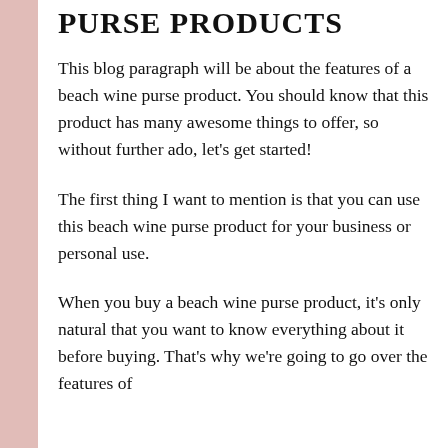PURSE PRODUCTS
This blog paragraph will be about the features of a beach wine purse product. You should know that this product has many awesome things to offer, so without further ado, let’s get started!
The first thing I want to mention is that you can use this beach wine purse product for your business or personal use.
When you buy a beach wine purse product, it’s only natural that you want to know everything about it before buying. That’s why we’re going to go over the features of